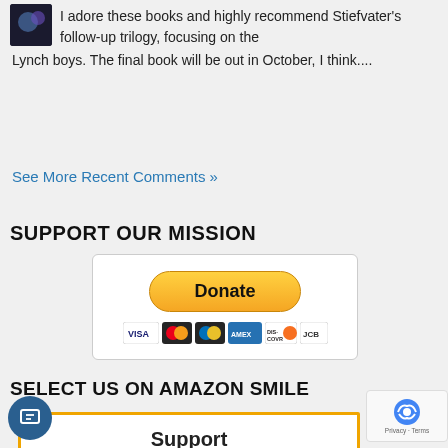I adore these books and highly recommend Stiefvater's follow-up trilogy, focusing on the Lynch boys. The final book will be out in October, I think....
See More Recent Comments »
SUPPORT OUR MISSION
[Figure (screenshot): PayPal Donate button with credit card icons (Visa, Mastercard, PayPal, Amex, Discover, JCB)]
SELECT US ON AMAZON SMILE
[Figure (screenshot): Amazon Smile support box with orange border showing 'Support Cannonball Read, Inc..']